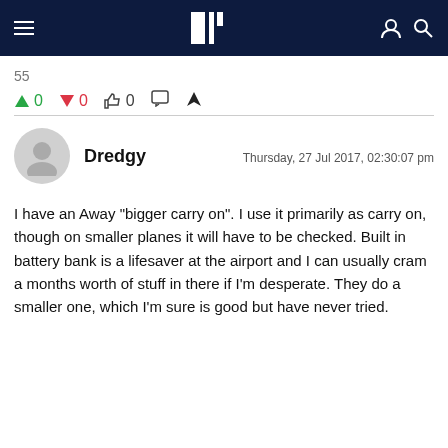Navigation bar with hamburger menu, logo, user and search icons
↑ 0   ↓ 0   👍 0   💬   ⚠
Dredgy   Thursday, 27 Jul 2017, 02:30:07 pm
I have an Away "bigger carry on". I use it primarily as carry on, though on smaller planes it will have to be checked. Built in battery bank is a lifesaver at the airport and I can usually cram a months worth of stuff in there if I'm desperate. They do a smaller one, which I'm sure is good but have never tried.